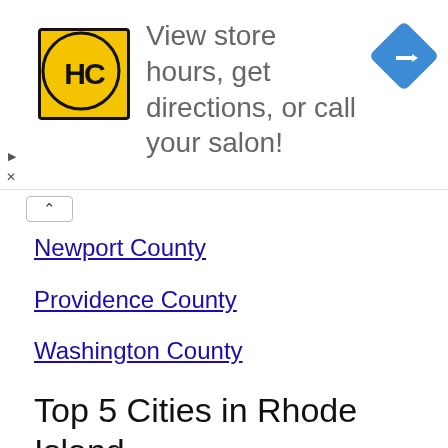[Figure (infographic): Advertisement banner for HC (Hair Club or similar salon brand): yellow logo with HC initials, text 'View store hours, get directions, or call your salon!', blue diamond navigation arrow icon]
Newport County
Providence County
Washington County
Top 5 Cities in Rhode Island
Providence
12 registered companies
Warwick
11 registered companies